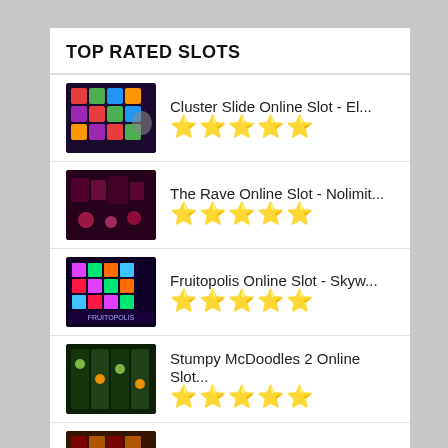TOP RATED SLOTS
Cluster Slide Online Slot - El... ★★★★★
The Rave Online Slot - Nolimit... ★★★★★
Fruitopolis Online Slot - Skyw... ★★★★★
Stumpy McDoodles 2 Online Slot... ★★★★★
Teller Of Tales Online Slot -... ★★★★★
powered by ratingwidget